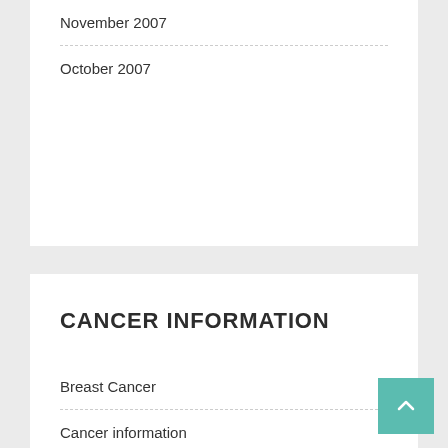November 2007
October 2007
CANCER INFORMATION
Breast Cancer
Cancer information
RECENT POSTS